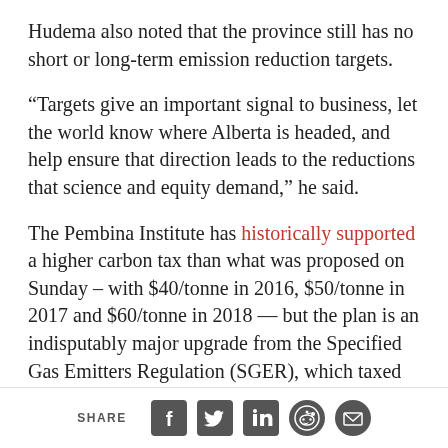Hudema also noted that the province still has no short or long-term emission reduction targets.
“Targets give an important signal to business, let the world know where Alberta is headed, and help ensure that direction leads to the reductions that science and equity demand,” he said.
The Pembina Institute has historically supported a higher carbon tax than what was proposed on Sunday – with $40/tonne in 2016, $50/tonne in 2017 and $60/tonne in 2018 — but the plan is an indisputably major upgrade from the Specified Gas Emitters Regulation (SGER), which taxed Alberta’s largest emitters (103 at last count) at the
SHARE